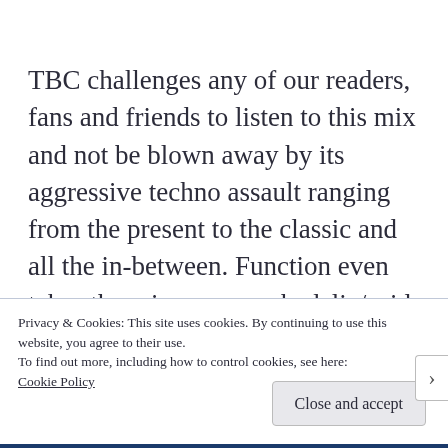TBC challenges any of our readers, fans and friends to listen to this mix and not be blown away by its aggressive techno assault ranging from the present to the classic and all the in-between. Function even takes the mix on a psychedelic/acid journey towards the middle of the mix which highlights his great style and his
Privacy & Cookies: This site uses cookies. By continuing to use this website, you agree to their use.
To find out more, including how to control cookies, see here:
Cookie Policy
Close and accept